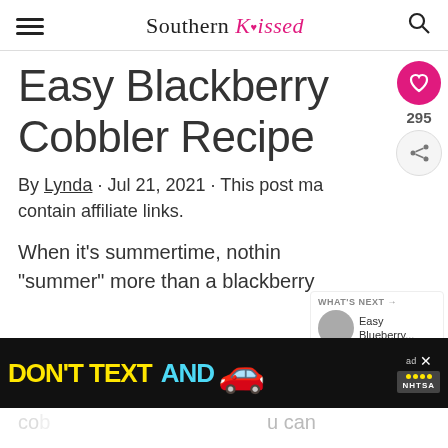Southern Kissed
Easy Blackberry Cobbler Recipe
By Lynda · Jul 21, 2021 · This post may contain affiliate links.
When it's summertime, nothing "summer" more than a blackberry
[Figure (screenshot): DON'T TEXT AND [car emoji] ad banner from NHTSA]
...u can